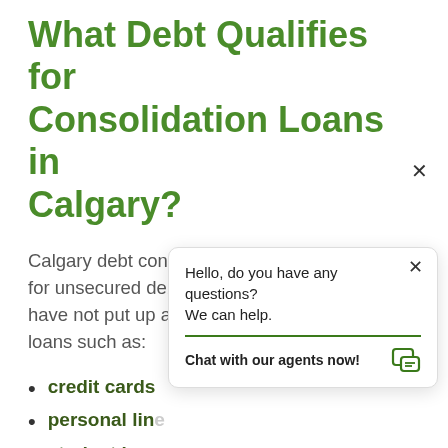What Debt Qualifies for Consolidation Loans in Calgary?
Calgary debt consolidation services are meant for unsecured debt. This is debt for which you have not put up any collateral. That includes loans such as:
credit cards
personal line
student loans
taxes
medical bills
unpaid rent
where landlords are permitted to